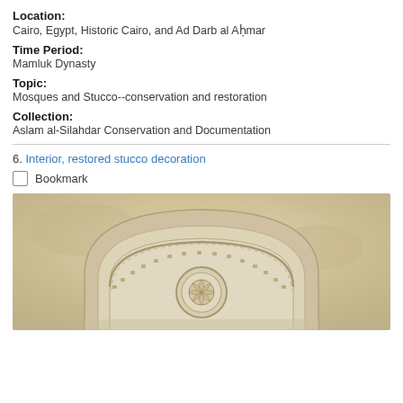Location:
Cairo, Egypt, Historic Cairo, and Ad Darb al Aḥmar
Time Period:
Mamluk Dynasty
Topic:
Mosques and Stucco--conservation and restoration
Collection:
Aslam al-Silahdar Conservation and Documentation
6. Interior, restored stucco decoration
Bookmark
[Figure (photo): Interior photo of restored stucco decoration showing an arched architectural detail with carved geometric and floral patterns in beige/cream tones]